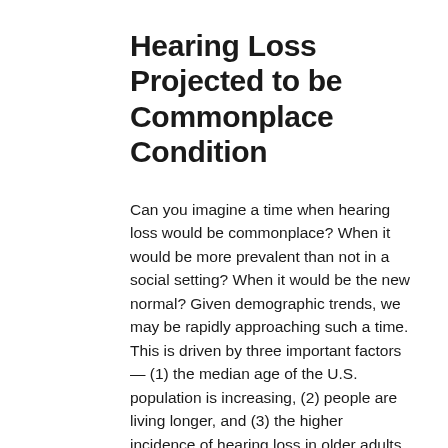Hearing Loss Projected to be Commonplace Condition
Can you imagine a time when hearing loss would be commonplace? When it would be more prevalent than not in a social setting? When it would be the new normal? Given demographic trends, we may be rapidly approaching such a time. This is driven by three important factors — (1) the median age of the U.S. population is increasing, (2) people are living longer, and (3) the higher incidence of hearing loss in older adults.